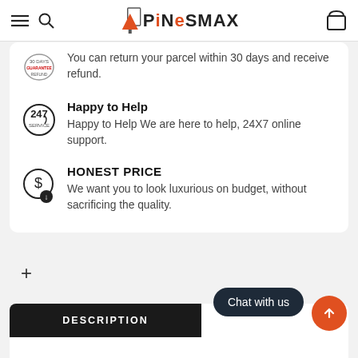PineSMAX navigation header with menu, search, logo, and cart icons
You can return your parcel within 30 days and receive refund.
Happy to Help
Happy to Help We are here to help, 24X7 online support.
HONEST PRICE
We want you to look luxurious on budget, without sacrificing the quality.
+
DESCRIPTION
Chat with us